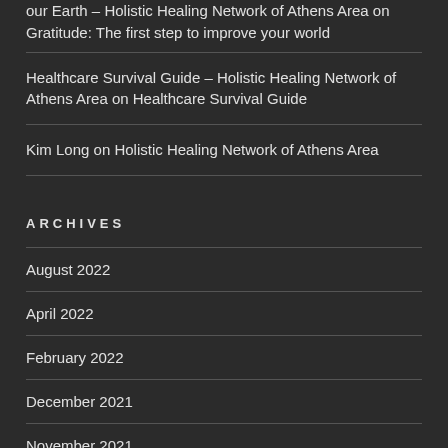our Earth – Holistic Healing Network of Athens Area on Gratitude: The first step to improve your world
Healthcare Survival Guide – Holistic Healing Network of Athens Area on Healthcare Survival Guide
Kim Long on Holistic Healing Network of Athens Area
ARCHIVES
August 2022
April 2022
February 2022
December 2021
November 2021